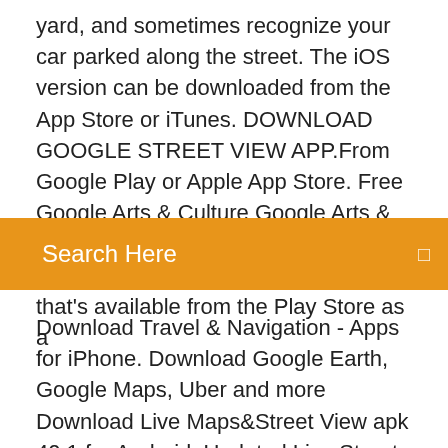yard, and sometimes recognize your car parked along the street. The iOS version can be downloaded from the App Store or iTunes. DOWNLOAD GOOGLE STREET VIEW APP.From Google Play or Apple App Store. Free Google Arts & Culture Google Arts & Culture. 3 Sep 2015 Google Maps Street View Standalone App v2.0 that's available from the Play Store as a
Search Here
Download Travel & Navigation - Apps for iPhone. Download Google Earth, Google Maps, Uber and more Download Live Maps&Street View apk 40.1 for Android. Updated Live Street Maps Traffic with 3D Buildings,GPS location And search Free. Download android apps, games, themes and live wallpapers direct APK for all android smartphones, tablets and other devices from AppsApk. StreetView - virtuální procházka městem. Velký bratr od Google Objevujte z výšky celý svět díky satelitním snímkům, trojrozměrnému zobrazení terénu celé země a trojrozměrným budovám ve stovkách měst.